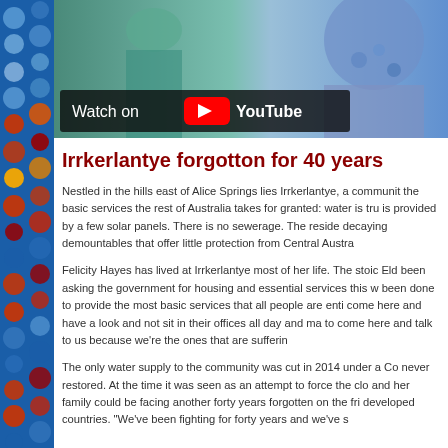[Figure (screenshot): YouTube video thumbnail showing two people, with a 'Watch on YouTube' overlay button in the lower left]
Irrkerlantye forgotton for 40 years
Nestled in the hills east of Alice Springs lies Irrkerlantye, a community without the basic services the rest of Australia takes for granted: water is trucked in, power is provided by a few solar panels. There is no sewerage. The residents live in decaying demountables that offer little protection from Central Austra...
Felicity Hayes has lived at Irrkerlantye most of her life. The stoic Elder has been asking the government for housing and essential services this whole time. "been done to provide the most basic services that all people are entitled to. come here and have a look and not sit in their offices all day and ma... to come here and talk to us because we're the ones that are suffering..."
The only water supply to the community was cut in 2014 under a Co... never restored. At the time it was seen as an attempt to force the clo... and her family could be facing another forty years forgotten on the fri... developed countries. "We've been fighting for forty years and we've s..."